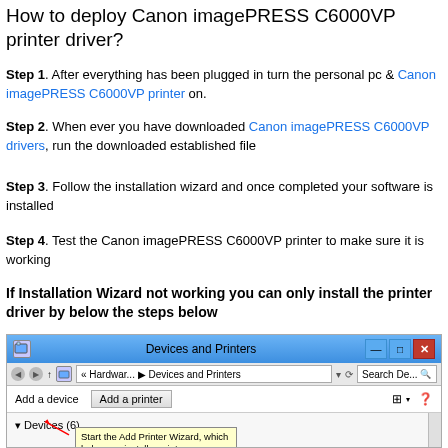How to deploy Canon imagePRESS C6000VP printer driver?
Step 1. After everything has been plugged in turn the personal pc & Canon imagePRESS C6000VP printer on.
Step 2. When ever you have downloaded Canon imagePRESS C6000VP drivers, run the downloaded established file
Step 3. Follow the installation wizard and once completed your software is installed
Step 4. Test the Canon imagePRESS C6000VP printer to make sure it is working
If Installation Wizard not working you can only install the printer driver by below the steps below
[Figure (screenshot): Screenshot of Windows Devices and Printers dialog with Add a printer button highlighted and tooltip showing 'Start the Add Printer Wizard, which helps you install a printer'. A red arrow points to the Add a printer button. Devices (6) section visible at bottom.]